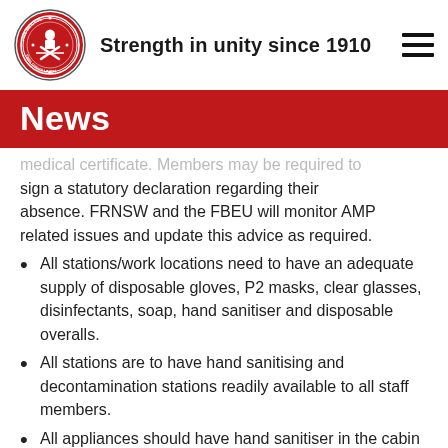Strength in unity since 1910
News
medical certificate. Members may be required to sign a statutory declaration regarding their absence. FRNSW and the FBEU will monitor AMP related issues and update this advice as required.
All stations/work locations need to have an adequate supply of disposable gloves, P2 masks, clear glasses, disinfectants, soap, hand sanitiser and disposable overalls.
All stations are to have hand sanitising and decontamination stations readily available to all staff members.
All appliances should have hand sanitiser in the cabin and an adequate supply of disposable